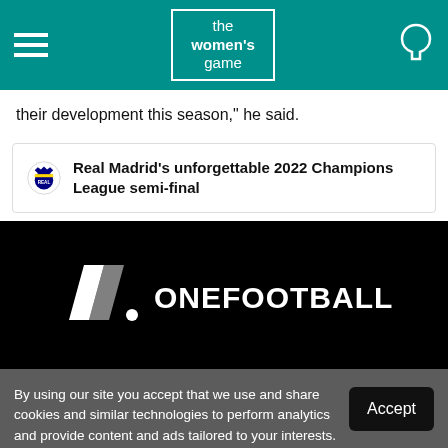the women's game
their development this season," he said.
Real Madrid's unforgettable 2022 Champions League semi-final
[Figure (screenshot): OneFootball video embed with ONEFOOTBALL logo on black background]
By using our site you accept that we use and share cookies and similar technologies to perform analytics and provide content and ads tailored to your interests. By continuing to use our site, you consent to this. Please see our Cookie Policy for more information.